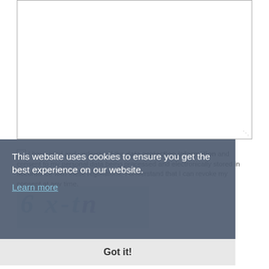[Figure (screenshot): Large empty textarea input box with resize handle at bottom right]
I have read and understood the data protection information and consent to my personal data being processed and electronically stored in accordance with these regulations. I understand that I can revoke my consent at any time.
[Figure (screenshot): Cookie consent overlay banner with text: This website uses cookies to ensure you get the best experience on our website. Learn more. Got it! button.]
[Figure (screenshot): CAPTCHA image showing distorted characters: 6, x, t, n]
Validation-Code